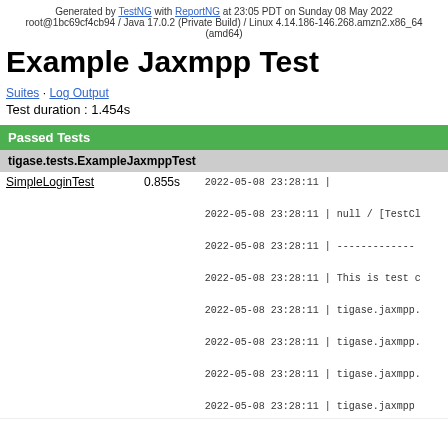Generated by TestNG with ReportNG at 23:05 PDT on Sunday 08 May 2022
root@1bc69cf4cb94 / Java 17.0.2 (Private Build) / Linux 4.14.186-146.268.amzn2.x86_64 (amd64)
Example Jaxmpp Test
Suites · Log Output
Test duration : 1.454s
| Passed Tests |  |  |
| --- | --- | --- |
| tigase.tests.ExampleJaxmppTest |  |  |
| SimpleLoginTest | 0.855s | 2022-05-08 23:28:11 | |
|  |  | 2022-05-08 23:28:11 | null / [TestCl |
|  |  | 2022-05-08 23:28:11 | ------------- |
|  |  | 2022-05-08 23:28:11 | This is test c |
|  |  | 2022-05-08 23:28:11 | tigase.jaxmpp. |
|  |  | 2022-05-08 23:28:11 | tigase.jaxmpp. |
|  |  | 2022-05-08 23:28:11 | tigase.jaxmpp. |
|  |  | 2022-05-08 23:28:11 | tigase.jaxmpp |